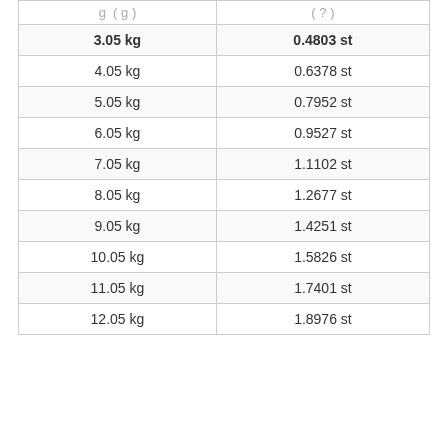| kg (g) | st (?) |
| --- | --- |
| 3.05 kg | 0.4803 st |
| 4.05 kg | 0.6378 st |
| 5.05 kg | 0.7952 st |
| 6.05 kg | 0.9527 st |
| 7.05 kg | 1.1102 st |
| 8.05 kg | 1.2677 st |
| 9.05 kg | 1.4251 st |
| 10.05 kg | 1.5826 st |
| 11.05 kg | 1.7401 st |
| 12.05 kg | 1.8976 st |